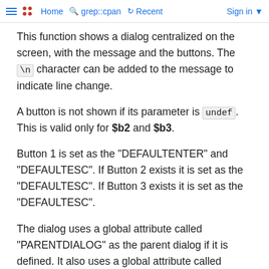Home  grep::cpan  Recent  Sign in
This function shows a dialog centralized on the screen, with the message and the buttons. The \n character can be added to the message to indicate line change.
A button is not shown if its parameter is undef. This is valid only for $b2 and $b3.
Button 1 is set as the "DEFAULTENTER" and "DEFAULTESC". If Button 2 exists it is set as the "DEFAULTESC". If Button 3 exists it is set as the "DEFAULTESC".
The dialog uses a global attribute called "PARENTDIALOG" as the parent dialog if it is defined. It also uses a global attribute called "ICON" as the dialog icon if it is defined.
See Also